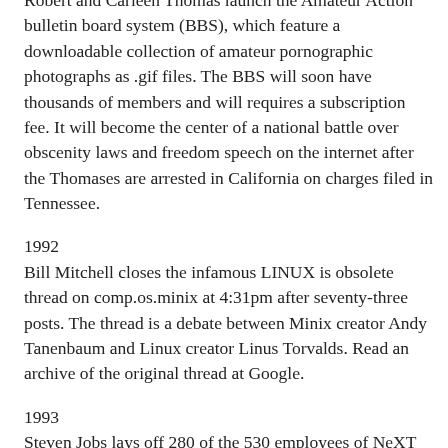Robert and Carleen Thomas launch the Amateur Action bulletin board system (BBS), which feature a downloadable collection of amateur pornographic photographs as .gif files. The BBS will soon have thousands of members and will requires a subscription fee. It will become the center of a national battle over obscenity laws and freedom speech on the internet after the Thomases are arrested in California on charges filed in Tennessee.
1992
Bill Mitchell closes the infamous LINUX is obsolete thread on comp.os.minix at 4:31pm after seventy-three posts. The thread is a debate between Minix creator Andy Tanenbaum and Linux creator Linus Torvalds. Read an archive of the original thread at Google.
1993
Steven Jobs lays off 280 of the 530 employees of NeXT